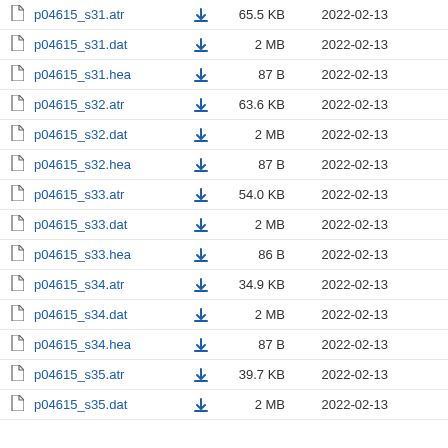p04615_s31.atr  65.5 KB  2022-02-13
p04615_s31.dat  2 MB  2022-02-13
p04615_s31.hea  87 B  2022-02-13
p04615_s32.atr  63.6 KB  2022-02-13
p04615_s32.dat  2 MB  2022-02-13
p04615_s32.hea  87 B  2022-02-13
p04615_s33.atr  54.0 KB  2022-02-13
p04615_s33.dat  2 MB  2022-02-13
p04615_s33.hea  86 B  2022-02-13
p04615_s34.atr  34.9 KB  2022-02-13
p04615_s34.dat  2 MB  2022-02-13
p04615_s34.hea  87 B  2022-02-13
p04615_s35.atr  39.7 KB  2022-02-13
p04615_s35.dat  2 MB  2022-02-13